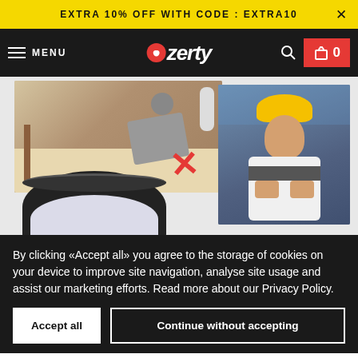EXTRA 10% OFF WITH CODE : EXTRA10
MENU | ozerty | 0
[Figure (photo): Image collage showing: top-left a pest control worker in protective suit spraying on floor with bugs and a red X mark; right side a smiling male worker in yellow hard hat and overalls with arms crossed in industrial setting; bottom-left a black outdoor light fixture lamp]
By clicking «Accept all» you agree to the storage of cookies on your device to improve site navigation, analyse site usage and assist our marketing efforts. Read more about our Privacy Policy.
Accept all | Continue without accepting